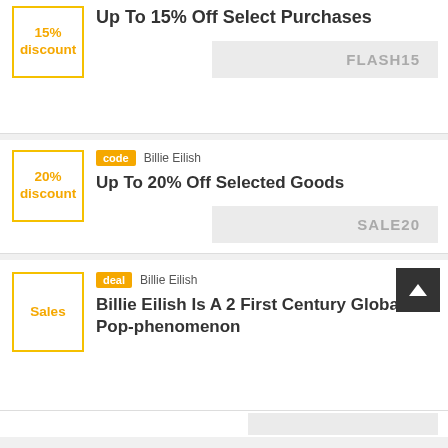15% discount
Up To 15% Off Select Purchases
FLASH15
20% discount
code  Billie Eilish
Up To 20% Off Selected Goods
SALE20
Sales
deal  Billie Eilish
Billie Eilish Is A 2 First Century Global Pop-phenomenon